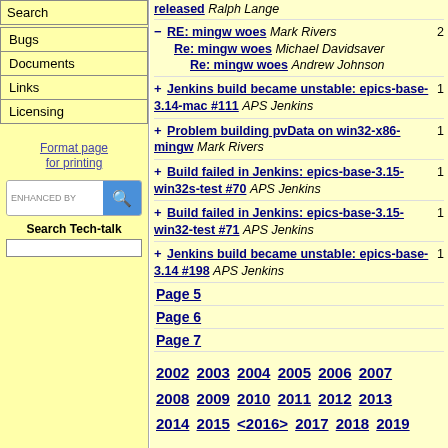Search
Bugs
Documents
Links
Licensing
Format page for printing
ENHANCED BY [search box]
Search Tech-talk
released Ralph Lange
- RE: mingw woes Mark Rivers 2
    Re: mingw woes Michael Davidsaver
        Re: mingw woes Andrew Johnson
+ Jenkins build became unstable: epics-base-3.14-mac #111 APS Jenkins 1
+ Problem building pvData on win32-x86-mingw Mark Rivers 1
+ Build failed in Jenkins: epics-base-3.15-win32s-test #70 APS Jenkins 1
+ Build failed in Jenkins: epics-base-3.15-win32-test #71 APS Jenkins 1
+ Jenkins build became unstable: epics-base-3.14 #198 APS Jenkins 1
Page 5
Page 6
Page 7
2002 2003 2004 2005 2006 2007 2008 2009 2010 2011 2012 2013 2014 2015 <2016> 2017 2018 2019